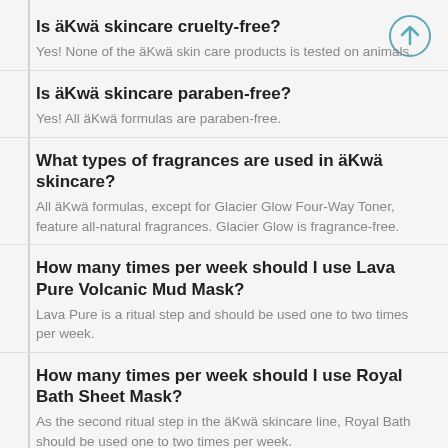Is äKwä skincare cruelty-free?
Yes! None of the äKwä skin care products is tested on animals.
Is äKwä skincare paraben-free?
Yes! All äKwä formulas are paraben-free.
What types of fragrances are used in äKwä skincare?
All äKwä formulas, except for Glacier Glow Four-Way Toner, feature all-natural fragrances. Glacier Glow is fragrance-free.
How many times per week should I use Lava Pure Volcanic Mud Mask?
Lava Pure is a ritual step and should be used one to two times per week.
How many times per week should I use Royal Bath Sheet Mask?
As the second ritual step in the äKwä skincare line, Royal Bath should be used one to two times per week.